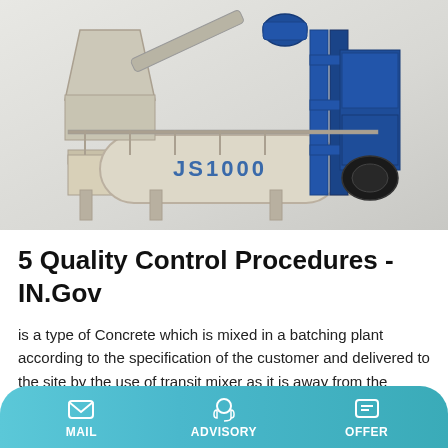[Figure (photo): JS1000 concrete batching plant / twin-shaft mixer machine, beige/cream colored with blue structural frame and components, on a light grey background]
5 Quality Control Procedures - IN.Gov
is a type of Concrete which is mixed in a batching plant according to the specification of the customer and delivered to the site by the use of transit mixer as it is away from the construction site. It is necessary to ensure that concrete produced in a RMC plant should be of desired quality. Quality control is exercised in …
MAIL   ADVISORY   OFFER